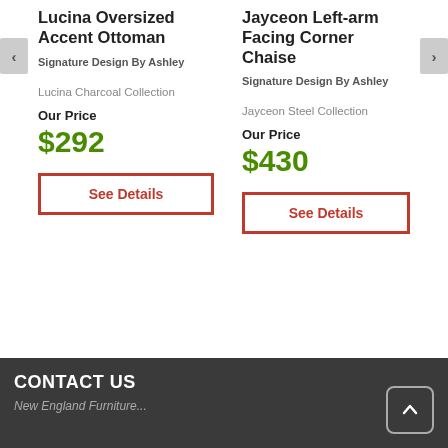Lucina Oversized Accent Ottoman
Signature Design By Ashley
Lucina Charcoal Collection
Our Price
$292
See Details
Jayceon Left-arm Facing Corner Chaise
Signature Design By Ashley
Jayceon Steel Collection
Our Price
$430
See Details
CONTACT US